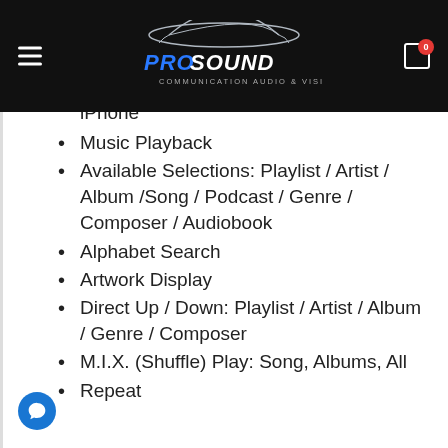ProSound Communication Audio & Vision
iPhone
Music Playback
Available Selections: Playlist / Artist / Album /Song / Podcast / Genre / Composer / Audiobook
Alphabet Search
Artwork Display
Direct Up / Down: Playlist / Artist / Album / Genre / Composer
M.I.X. (Shuffle) Play: Song, Albums, All
Repeat